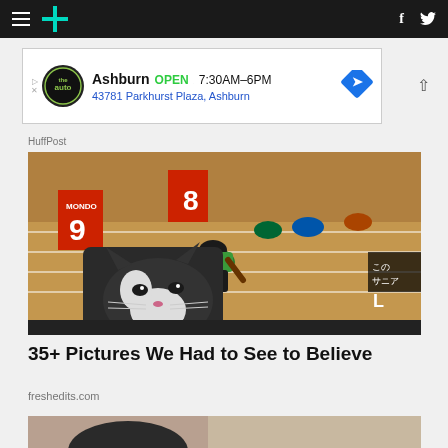HuffPost navigation bar with hamburger menu, logo, Facebook and Twitter icons
[Figure (other): Advertisement banner: Ashburn OPEN 7:30AM-6PM, 43781 Parkhurst Plaza, Ashburn]
HuffPost
[Figure (photo): A cat in the foreground looking at a TV screen showing sprinters at starting blocks on a running track, with lane numbers 8 and 9 visible on orange starting blocks]
35+ Pictures We Had to See to Believe
freshedits.com
[Figure (photo): Partial view of a second article thumbnail image, cropped at bottom of page]